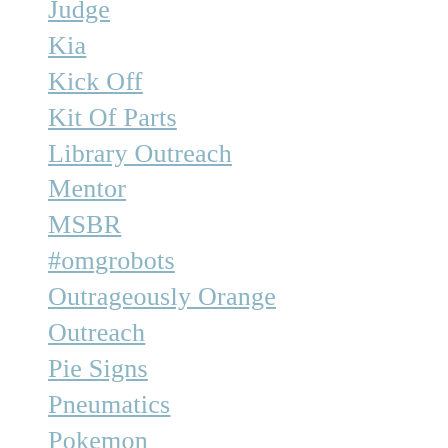Judge
Kia
Kick Off
Kit Of Parts
Library Outreach
Mentor
MSBR
#omgrobots
Outrageously Orange
Outreach
Pie Signs
Pneumatics
Pokemon
Power Up 2018
Presentation Team
Referree
Robopanthers
Robot
SAE